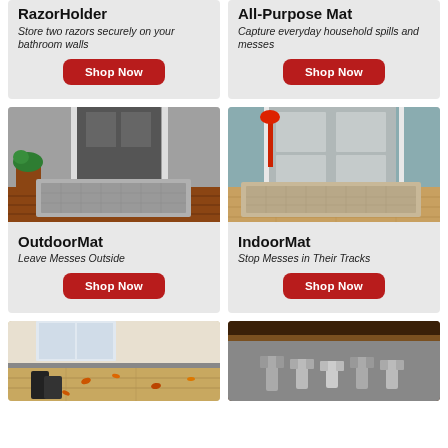RazorHolder
Store two razors securely on your bathroom walls
Shop Now
All-Purpose Mat
Capture everyday household spills and messes
Shop Now
[Figure (photo): Outdoor mat placed in front of a house door on brick pavers, with a green plant nearby]
OutdoorMat
Leave Messes Outside
Shop Now
[Figure (photo): Indoor mat placed on wood flooring in front of a grey door, with red umbrella visible]
IndoorMat
Stop Messes in Their Tracks
Shop Now
[Figure (photo): Partial view of a product at a doorway with autumn leaves and boots]
[Figure (photo): Partial view of a product under a shelf or cabinet with metal items]